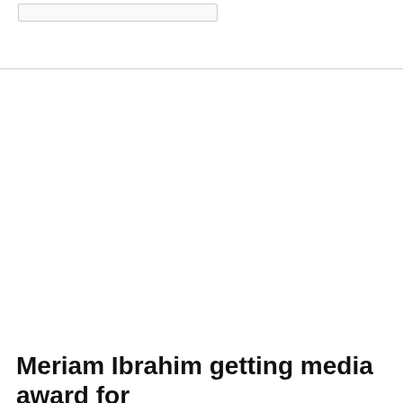[Figure (photo): A photograph area, mostly white/blank in this cropped view, with a horizontal rule dividing the header from the content area.]
Meriam Ibrahim getting media award for